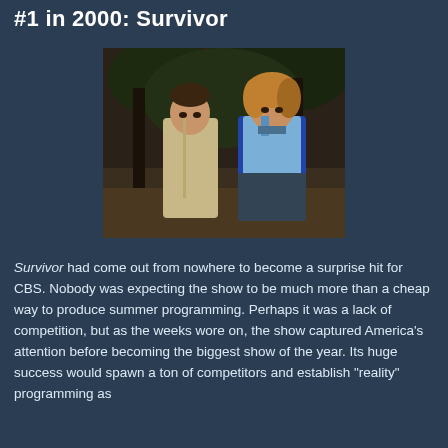#1 in 2000: Survivor
[Figure (photo): Two Survivor contestants standing in a jungle/tribal setting — a man in a tan button-up shirt and a woman in a blue sleeveless top and dark skirt, both looking surprised or serious.]
Survivor had come out from nowhere to become a surprise hit for CBS. Nobody was expecting the show to be much more than a cheap way to produce summer programming. Perhaps it was a lack of competition, but as the weeks wore on, the show captured America's attention before becoming the biggest show of the year. Its huge success would spawn a ton of competitors and establish "reality" programming as